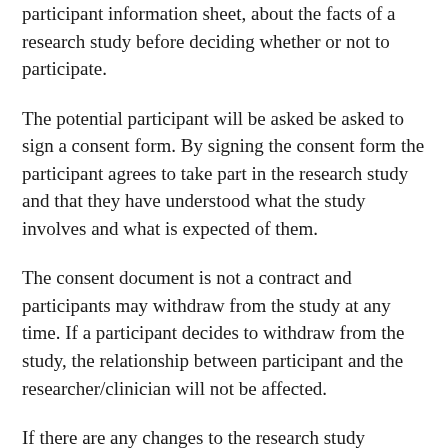participant information sheet, about the facts of a research study before deciding whether or not to participate.
The potential participant will be asked be asked to sign a consent form. By signing the consent form the participant agrees to take part in the research study and that they have understood what the study involves and what is expected of them.
The consent document is not a contract and participants may withdraw from the study at any time. If a participant decides to withdraw from the study, the relationship between participant and the researcher/clinician will not be affected.
If there are any changes to the research study protocol participants will be kept informed and may